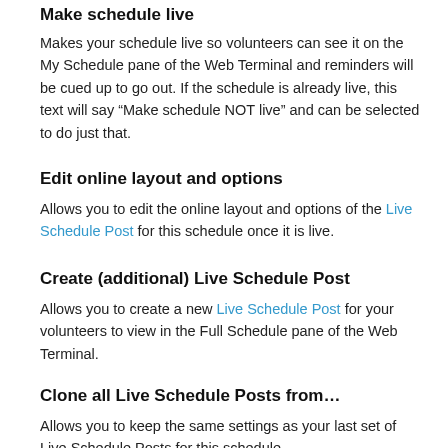Make schedule live
Makes your schedule live so volunteers can see it on the My Schedule pane of the Web Terminal and reminders will be cued up to go out. If the schedule is already live, this text will say “Make schedule NOT live” and can be selected to do just that.
Edit online layout and options
Allows you to edit the online layout and options of the Live Schedule Post for this schedule once it is live.
Create (additional) Live Schedule Post
Allows you to create a new Live Schedule Post for your volunteers to view in the Full Schedule pane of the Web Terminal.
Clone all Live Schedule Posts from…
Allows you to keep the same settings as your last set of Live Schedule Posts for this schedule.